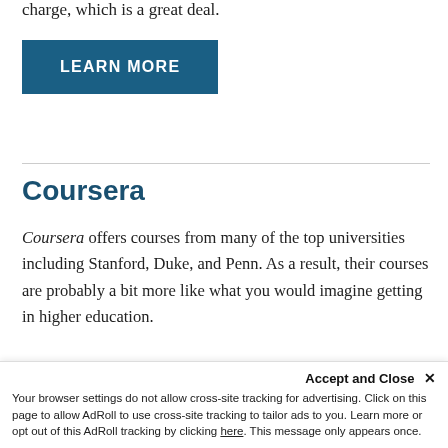charge, which is a great deal.
LEARN MORE
Coursera
Coursera offers courses from many of the top universities including Stanford, Duke, and Penn. As a result, their courses are probably a bit more like what you would imagine getting in higher education.
Accept and Close ✕ Your browser settings do not allow cross-site tracking for advertising. Click on this page to allow AdRoll to use cross-site tracking to tailor ads to you. Learn more or opt out of this AdRoll tracking by clicking here. This message only appears once.